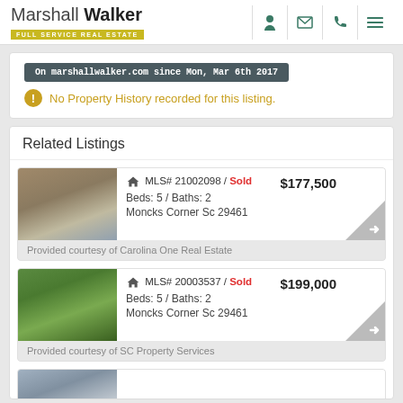Marshall Walker FULL SERVICE REAL ESTATE
On marshallwalker.com since Mon, Mar 6th 2017
No Property History recorded for this listing.
Related Listings
MLS# 21002098 / Sold   $177,500
Beds: 5 / Baths: 2
Moncks Corner Sc 29461
Provided courtesy of Carolina One Real Estate
MLS# 20003537 / Sold   $199,000
Beds: 5 / Baths: 2
Moncks Corner Sc 29461
Provided courtesy of SC Property Services